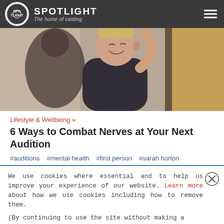SPOTLIGHT — The home of casting
[Figure (photo): A young man with short blonde hair wearing a dark tank top, smiling, in a rehearsal or audition space]
Lifestyle & Wellbeing »
6 Ways to Combat Nerves at Your Next Audition
#auditions   #mental health   #first person   #sarah horton
We use cookies where essential and to help us improve your experience of our website. Learn more about how we use cookies including how to remove them.
(By continuing to use the site without making a selection we'll assume you are OK with our use of cookies at present)
No, thanks   Got it!